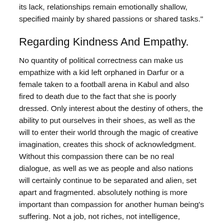its lack, relationships remain emotionally shallow, specified mainly by shared passions or shared tasks."
Regarding Kindness And Empathy.
No quantity of political correctness can make us empathize with a kid left orphaned in Darfur or a female taken to a football arena in Kabul and also fired to death due to the fact that she is poorly dressed. Only interest about the destiny of others, the ability to put ourselves in their shoes, as well as the will to enter their world through the magic of creative imagination, creates this shock of acknowledgment. Without this compassion there can be no real dialogue, as well as we as people and also nations will certainly continue to be separated and alien, set apart and fragmented. absolutely nothing is more important than compassion for another human being's suffering. Not a job, not riches, not intelligence, certainly not standing.